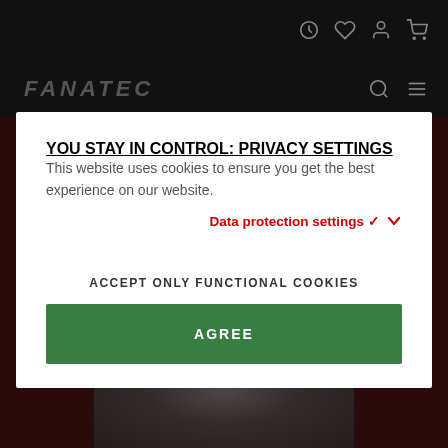[Figure (screenshot): Dark website background with navigation bar showing icons (clock, heart, user, cart) and Fanatec logo bar with search and hamburger menu icons]
YOU STAY IN CONTROL: PRIVACY SETTINGS
This website uses cookies to ensure you get the best experience on our website.
Data protection settings ∨
ACCEPT ONLY FUNCTIONAL COOKIES
AGREE